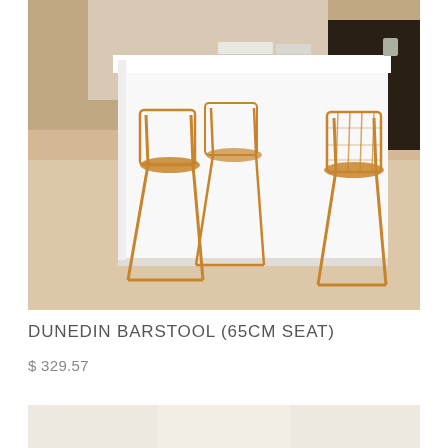[Figure (photo): Product photo of Dunedin Barstool (65cm seat) — three tan/caramel metal-framed barstools with woven rattan-style seats positioned around a white kitchen island countertop. Light wood flooring visible. Interior kitchen setting.]
DUNEDIN BARSTOOL (65CM SEAT)
$ 329.57
[Figure (photo): Partial product photo showing bottom portion of a cream/white sideboard or cabinet with three panel sections visible.]